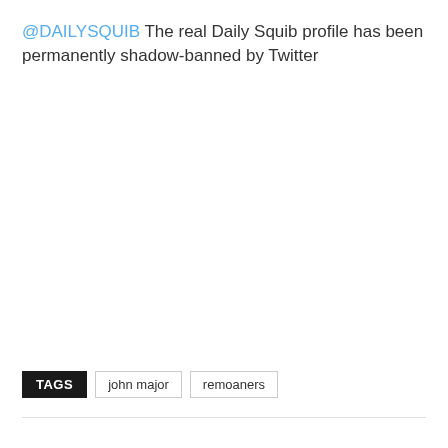@DAILYSQUIB The real Daily Squib profile has been permanently shadow-banned by Twitter
TAGS   john major   remoaners